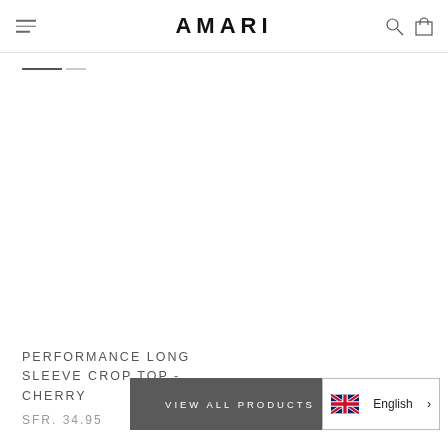AMARI
[Figure (other): Product image area - blank white space for PERFORMANCE LONG SLEEVE CROP TOP - CHERRY]
PERFORMANCE LONG SLEEVE CROP TOP - CHERRY
SFR. 34.95
VIEW ALL PRODUCTS
English